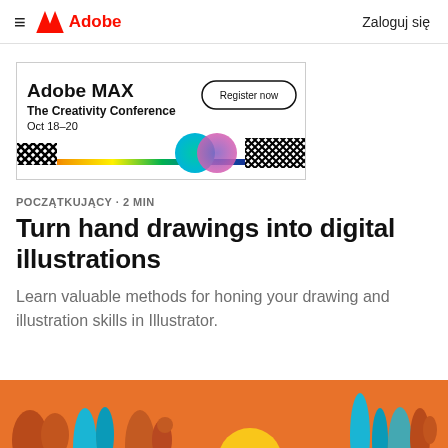≡  Adobe  Zaloguj się
[Figure (illustration): Adobe MAX The Creativity Conference Oct 18–20 Register now banner ad with colorful gradient and zigzag pattern]
POCZĄTKUJĄCY · 2 MIN
Turn hand drawings into digital illustrations
Learn valuable methods for honing your drawing and illustration skills in Illustrator.
[Figure (illustration): Colorful illustration with orange background, teal and dark blue organic shapes, and a yellow sun]